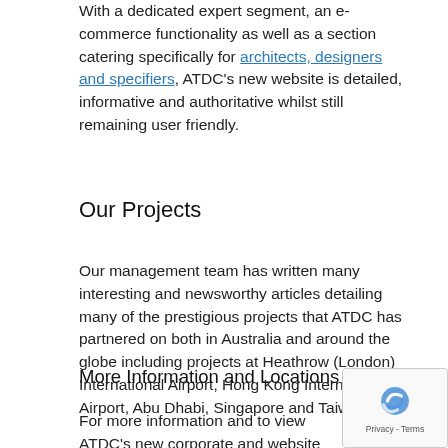With a dedicated expert segment, an e-commerce functionality as well as a section catering specifically for architects, designers and specifiers, ATDC's new website is detailed, informative and authoritative whilst still remaining user friendly.
Our Projects
Our management team has written many interesting and newsworthy articles detailing many of the prestigious projects that ATDC has partnered on both in Australia and around the globe including projects at Heathrow (London) International Airport, Hong Kong International Airport, Abu Dhabi, Singapore and Taiwan.
More Information and Locations
For more information and to view ATDC's new corporate and website please visit www.trellisdoors.com.au or call 657 435 for more information on our quality range of cutting